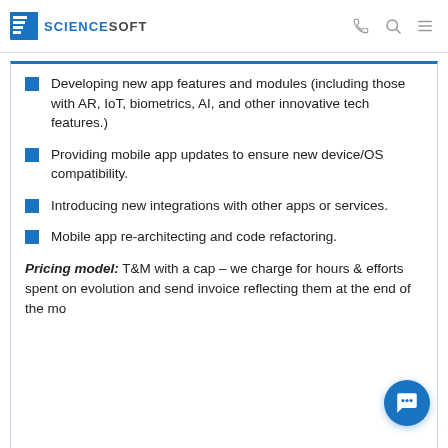ScienceSoft
Developing new app features and modules (including those with AR, IoT, biometrics, AI, and other innovative tech features.)
Providing mobile app updates to ensure new device/OS compatibility.
Introducing new integrations with other apps or services.
Mobile app re-architecting and code refactoring.
Pricing model: T&M with a cap – we charge for hours & efforts spent on evolution and send invoice reflecting them at the end of the mo...